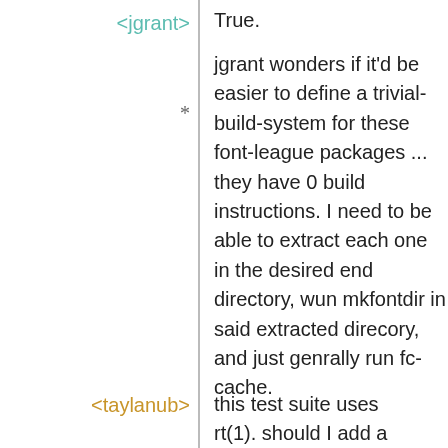<jgrant>
True.
*
jgrant wonders if it'd be easier to define a trivial-build-system for these font-league packages ... they have 0 build instructions. I need to be able to extract each one in the desired end directory, wun mkfontdir in said extracted direcory, and just genrally run fc-cache.
<taylanub>
this test suite uses rt(1). should I add a